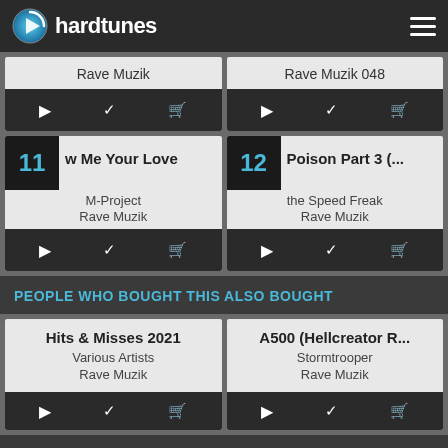hardtunes
Rave Muzik
Rave Muzik 048
11 w Me Your Love - M-Project - Rave Muzik
12 Poison Part 3 (... - the Speed Freak - Rave Muzik
PEOPLE WHO BOUGHT THIS ALSO BOUGHT
Hits & Misses 2021 - Various Artists - Rave Muzik
A500 (Hellcreator R... - Stormtrooper - Rave Muzik